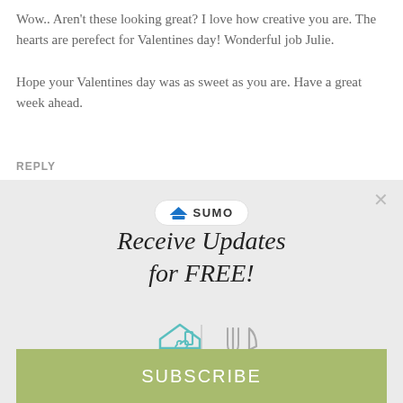Wow.. Aren't these looking great? I love how creative you are. The hearts are perefect for Valentines day! Wonderful job Julie.

Hope your Valentines day was as sweet as you are. Have a great week ahead.
REPLY
[Figure (logo): Sumo brand badge with crown icon and SUMO text]
Receive Updates for FREE!
[Figure (infographic): Four-quadrant icon grid: house with heart (home), fork and knife (food), dumbbell (fitness), apple (nutrition)]
SUBSCRIBE